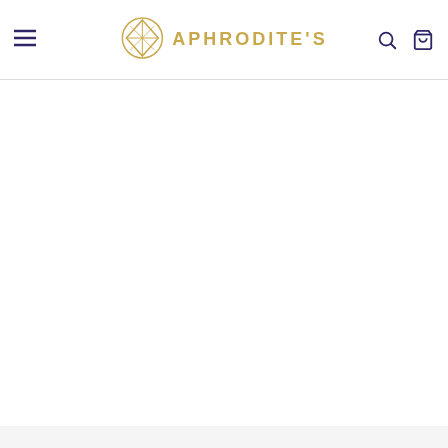[Figure (logo): Aphrodite's brand logo with geometric diamond icon in gold and brand name in gold uppercase letters]
[Figure (infographic): Purple banner with four feature icons: Free Shipping Worldwide, 30 Day Easy Returns, Live Friendly Customer Support, 100% Safe & Secure Checkout]
Free Shipping Worldwide
30 Day Easy Returns
Live Friendly Customer Support
100% Safe & Secure Checkout
FLASH SALE! Buy Now To Get 25% Off With Free Shipping.
$37.49 $49.99 Get Coupon & Checkout